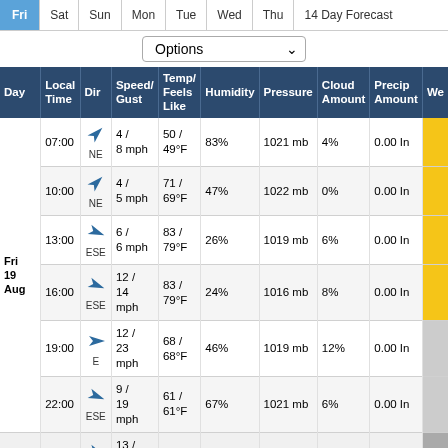| Day | Local Time | Dir | Speed/Gust | Temp/Feels Like | Humidity | Pressure | Cloud Amount | Precip Amount | We |
| --- | --- | --- | --- | --- | --- | --- | --- | --- | --- |
| Fri 19 Aug | 07:00 | NE | 4 / 8 mph | 50 / 49°F | 83% | 1021 mb | 4% | 0.00 In |  |
|  | 10:00 | NE | 4 / 5 mph | 71 / 69°F | 47% | 1022 mb | 0% | 0.00 In |  |
|  | 13:00 | ESE | 6 / 6 mph | 83 / 79°F | 26% | 1019 mb | 6% | 0.00 In |  |
|  | 16:00 | ESE | 12 / 14 mph | 83 / 79°F | 24% | 1016 mb | 8% | 0.00 In |  |
|  | 19:00 | E | 12 / 23 mph | 68 / 68°F | 46% | 1019 mb | 12% | 0.00 In |  |
|  | 22:00 | ESE | 9 / 19 mph | 61 / 61°F | 67% | 1021 mb | 6% | 0.00 In |  |
| Sat 20 Aug | 01:00 | ESE | 13 / 20 mph | 58 / 55°F | 89% | 1023 mb | 93% | 0.00 In |  |
|  | 04:00 | E | 18 / 23 mph | 58 / 55°F | 85% | 1022 mb | 92% | 0.00 In |  |
|  | 07:00 | E | 13 / 16 mph | 57 / 55°F | 86% | 1023 mb | 73% | 0.00 In |  |
|  | 10:00 | E | 15 / 18 mph | 64 / 63°F | 66% | 1025 mb | 24% | 0.00 In |  |